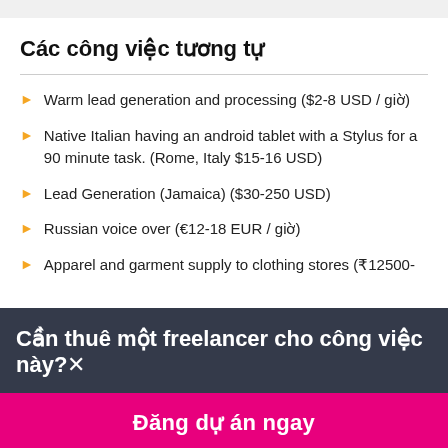Các công việc tương tự
Warm lead generation and processing ($2-8 USD / giờ)
Native Italian having an android tablet with a Stylus for a 90 minute task. (Rome, Italy $15-16 USD)
Lead Generation (Jamaica) ($30-250 USD)
Russian voice over (€12-18 EUR / giờ)
Apparel and garment supply to clothing stores (₹12500-
Cần thuê một freelancer cho công việc này?×
Đăng dự án ngay